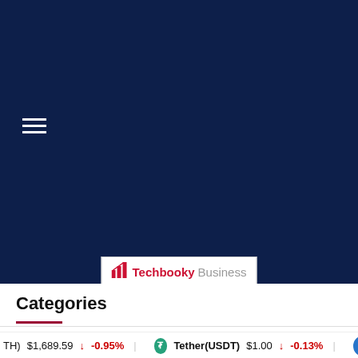[Figure (screenshot): Dark navy blue background covering the upper portion of the page with a hamburger menu icon (three horizontal white lines) on the left side]
[Figure (logo): Techbooky Business logo — bar chart icon in red, 'Techbooky' in red bold text, 'Business' in gray text, on white background with border]
Categories
(TH) $1,689.59 ↓ -0.95% | Tether(USDT) $1.00 ↓ -0.13% | USD C